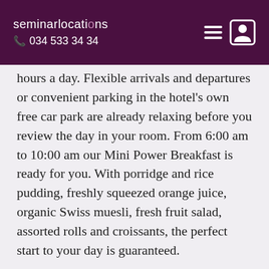seminarlocations 034 533 34 34
hours a day. Flexible arrivals and departures or convenient parking in the hotel's own free car park are already relaxing before you review the day in your room. From 6:00 am to 10:00 am our Mini Power Breakfast is ready for you. With porridge and rice pudding, freshly squeezed orange juice, organic Swiss muesli, fresh fruit salad, assorted rolls and croissants, the perfect start to your day is guaranteed.
Room
Lean back after a hard day's work or a long